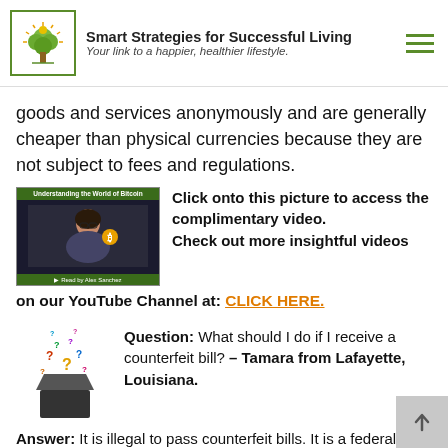Smart Strategies for Successful Living — Your link to a happier, healthier lifestyle.
goods and services anonymously and are generally cheaper than physical currencies because they are not subject to fees and regulations.
[Figure (screenshot): Thumbnail of a video titled 'Understanding the World of Bitcoin' with a woman holding a bitcoin coin.]
Click onto this picture to access the complimentary video. Check out more insightful videos on our YouTube Channel at: CLICK HERE.
[Figure (illustration): Illustration of a box with colorful question marks floating out of it.]
Question: What should I do if I receive a counterfeit bill? – Tamara from Lafayette, Louisiana.
Answer: It is illegal to pass counterfeit bills. It is a federal felony that is